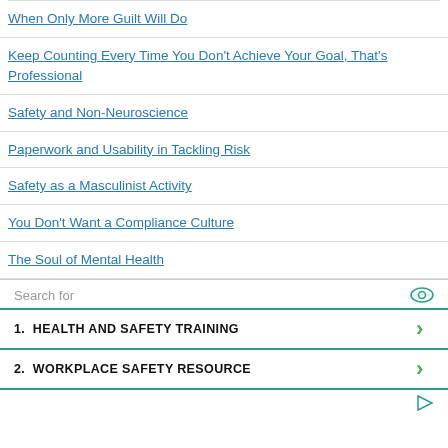When Only More Guilt Will Do
Keep Counting Every Time You Don't Achieve Your Goal, That's Professional
Safety and Non-Neuroscience
Paperwork and Usability in Tackling Risk
Safety as a Masculinist Activity
You Don't Want a Compliance Culture
The Soul of Mental Health
[Figure (infographic): Advertisement/search widget with 'Search for' label and eye icon, showing two sponsored links: 1. HEALTH AND SAFETY TRAINING and 2. WORKPLACE SAFETY RESOURCE, each with a green chevron arrow, separated by teal/green horizontal lines. A small play/triangle icon appears at the bottom right.]